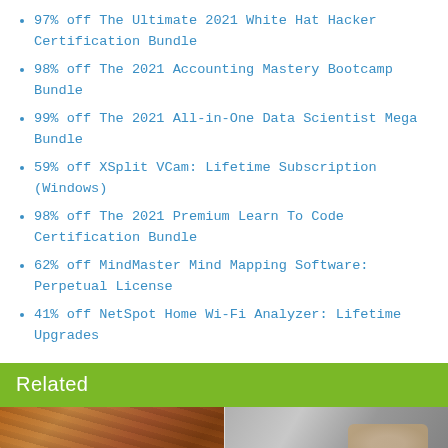97% off The Ultimate 2021 White Hat Hacker Certification Bundle
98% off The 2021 Accounting Mastery Bootcamp Bundle
99% off The 2021 All-in-One Data Scientist Mega Bundle
59% off XSplit VCam: Lifetime Subscription (Windows)
98% off The 2021 Premium Learn To Code Certification Bundle
62% off MindMaster Mind Mapping Software: Perpetual License
41% off NetSpot Home Wi-Fi Analyzer: Lifetime Upgrades
Related
[Figure (photo): Two related article thumbnail images arranged in a 2-column grid. Left: brown wooden surface or woven basket. Right: hand holding white object. Below: left shows white bowl, right shows white liquid or soap.]